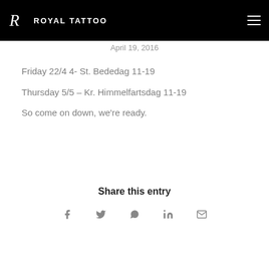ROYAL TATTOO
April 19, 2016
Friday 22/4 4-  St. Bededag 11-19
Thursday 5/5 – Kr. Himmelfartsdag 11-19
So come on down, we're ready.
Share this entry